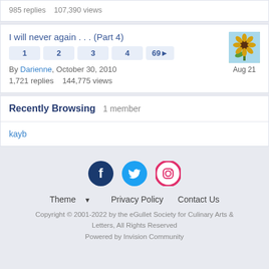985 replies   107,390 views
I will never again . . . (Part 4)
1 2 3 4 69▶
By Darienne, October 30, 2010
1,721 replies   144,775 views
Aug 21
Recently Browsing   1 member
kayb
Theme ▼   Privacy Policy   Contact Us
Copyright © 2001-2022 by the eGullet Society for Culinary Arts & Letters, All Rights Reserved
Powered by Invision Community